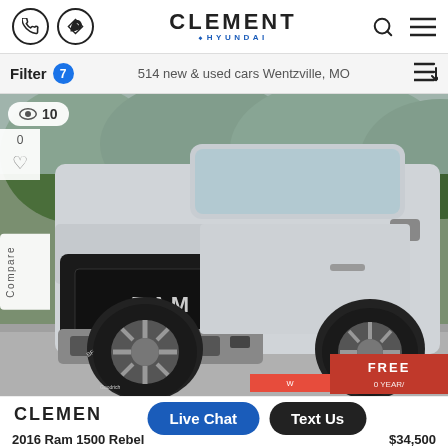CLEMENT HYUNDAI — navigation header with phone, directions, search, and menu icons
Filter 7   514 new & used cars Wentzville, MO
[Figure (photo): Front view of a 2016 Ram 1500 Rebel silver pickup truck with black grille and RAM lettering, parked on pavement with trees in background. Eye/views counter showing 10 in top-left. Sidebar showing 0 likes and Compare label. FREE badge with warranty text in bottom-right.]
CLEMENT
Live Chat   Text Us
2016 Ram 1500 Rebel   $34,500